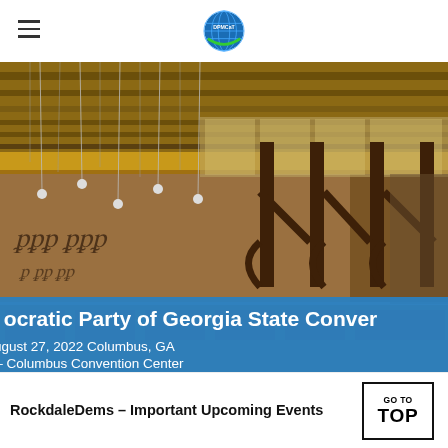≡  [DPMCaT logo]
[Figure (photo): Interior of Iron Works Columbus Convention Center — a large event hall with wooden timber frame structure, hanging pendant lights on chains, banquet tables set up below, and a mezzanine level with glass panels. The image shows a rustic-industrial venue prepared for a banquet.]
Democratic Party of Georgia State Convention
Saturday, August 27, 2022 Columbus, GA
Iron Works – Columbus Convention Center
RockdaleDems – Important Upcoming Events
GO TO TOP